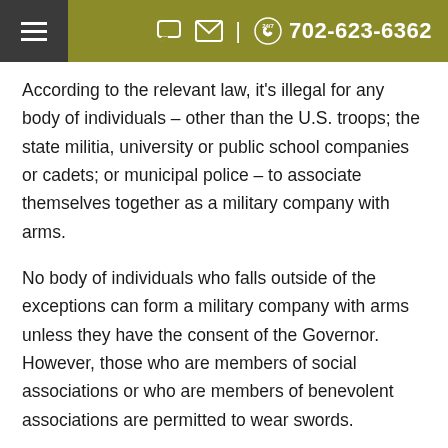702-623-6362
According to the relevant law, it's illegal for any body of individuals – other than the U.S. troops; the state militia, university or public school companies or cadets; or municipal police – to associate themselves together as a military company with arms.
No body of individuals who falls outside of the exceptions can form a military company with arms unless they have the consent of the Governor. However, those who are members of social associations or who are members of benevolent associations are permitted to wear swords.
If a defendant violates these laws by associating with a military company that has not been consented to by the